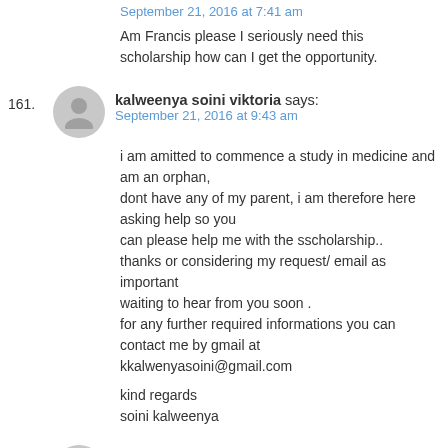September 21, 2016 at 7:41 am
Am Francis please I seriously need this scholarship how can I get the opportunity.
161. kalweenya soini viktoria says:
September 21, 2016 at 9:43 am
i am amitted to commence a study in medicine and am an orphan, dont have any of my parent, i am therefore here asking help so you can please help me with the sscholarship..
thanks or considering my request/ email as important
waiting to hear from you soon .
for any further required informations you can contact me by gmail at kkalwenyasoini@gmail.com

kind regards
soini kalweenya
162. Ishaq ayuba says:
September 21, 2016 at 8:32 pm
I want to apply for d scholarship
163. shireen says:
September 22, 2016 at 12:34 pm